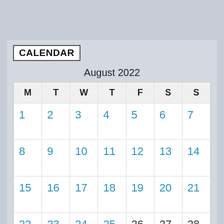CALENDAR
| M | T | W | T | F | S | S |
| --- | --- | --- | --- | --- | --- | --- |
| 1 | 2 | 3 | 4 | 5 | 6 | 7 |
| 8 | 9 | 10 | 11 | 12 | 13 | 14 |
| 15 | 16 | 17 | 18 | 19 | 20 | 21 |
| 22 | 23 | 24 | 25 | 26 | 27 | 28 |
| 29 | 30 | 31 |  |  |  |  |
« Jul